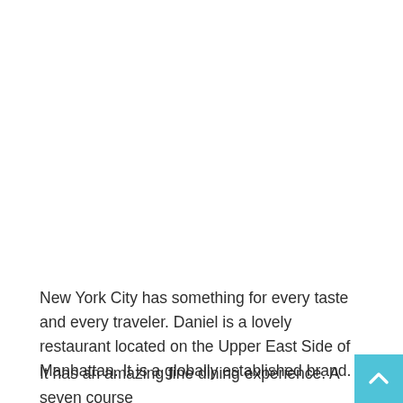New York City has something for every taste and every traveler. Daniel is a lovely restaurant located on the Upper East Side of Manhattan. It is a globally established brand.
It has an amazing fine dining experience. A seven course